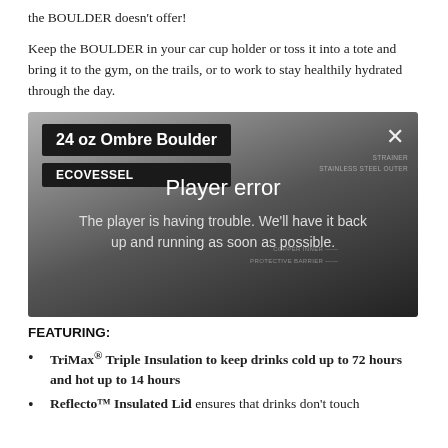the BOULDER doesn't offer!
Keep the BOULDER in your car cup holder or toss it into a tote and bring it to the gym, on the trails, or to work to stay healthily hydrated through the day.
[Figure (screenshot): Embedded video player showing a 24 oz Ombre Boulder by EcoVessel, displaying a 'Player error' message: 'The player is having trouble. We'll have it back up and running as soon as possible.' Background shows a diagram of the insulated water bottle with labeled layers including stainless steel outer, copper inner, and protective barrier. A close (X) button is visible in the top right.]
FEATURING:
TriMax® Triple Insulation to keep drinks cold up to 72 hours and hot up to 14 hours
Reflecto™ Insulated Lid ensures that drinks don't touch